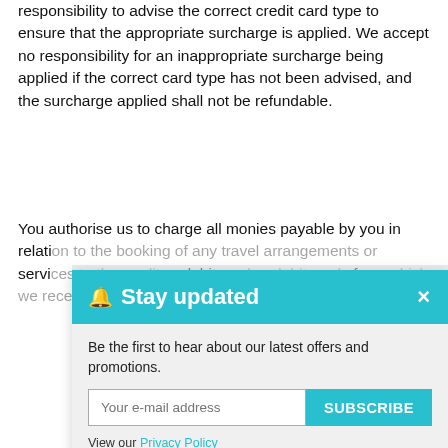responsibility to advise the correct credit card type to ensure that the appropriate surcharge is applied. We accept no responsibility for an inappropriate surcharge being applied if the correct card type has not been advised, and the surcharge applied shall not be refundable.
You authorise us to charge all monies payable by you in relation to the booking of any travel arrangements or services to the credit or debit card or debit cards from which we received your deposit. You agree...
[Figure (screenshot): A 'Stay updated' newsletter subscription modal overlay. Teal header with bell icon and close button (×). Body text: 'Be the first to hear about our latest offers and promotions.' Email input field with placeholder 'Your e-mail address' and teal 'SUBSCRIBE' button. Link: 'View our Privacy Policy'.]
CHA...
Be a... refundable if cancelled, and also may not be transferable to another date or otherwise changed. Alternatively, a change may only be permissible subject to payment of an additional fee or charge. It is your responsibility to check if